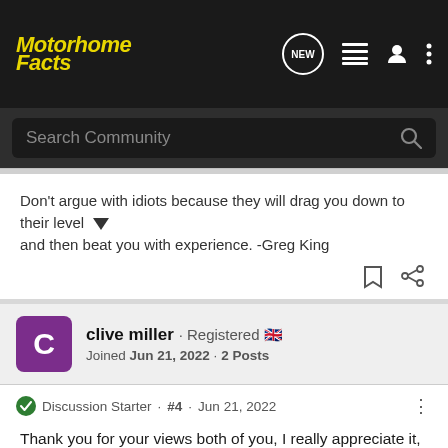Motorhome Facts
Search Community
Don't argue with idiots because they will drag you down to their level and then beat you with experience. -Greg King
clive miller · Registered
Joined Jun 21, 2022 · 2 Posts
Discussion Starter · #4 · Jun 21, 2022
Thank you for your views both of you, I really appreciate it, I do have unlimited data from EE and recently signed up for a year for £28 a month on my mobile phone and will use it for Hotspots when travelling in the uk.
It does seem the best offer, rather than buying a mobile router